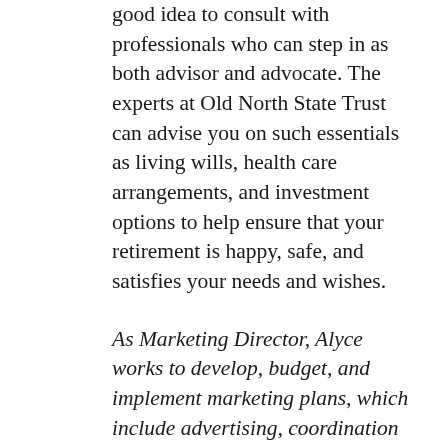good idea to consult with professionals who can step in as both advisor and advocate. The experts at Old North State Trust can advise you on such essentials as living wills, health care arrangements, and investment options to help ensure that your retirement is happy, safe, and satisfies your needs and wishes.
As Marketing Director, Alyce works to develop, budget, and implement marketing plans, which include advertising, coordination of conferences, special events, and development and maintenance of marketing materials. She also oversees the company's website, in-house articles, and fostering community initiatives within the organization. Alyce received a BS degree in Interior Design from East Carolina University with a concentration in Business